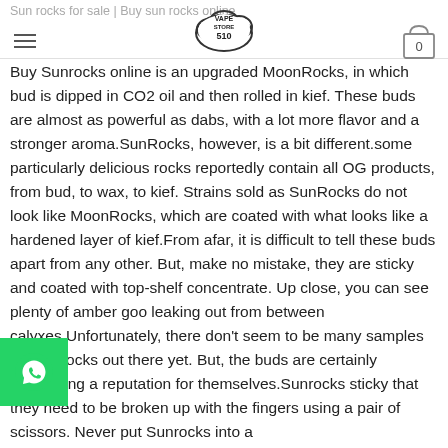Sun rocks for sale | Buy sun rocks online
Buy Sunrocks online is an upgraded MoonRocks, in which bud is dipped in CO2 oil and then rolled in kief. These buds are almost as powerful as dabs, with a lot more flavor and a stronger aroma.SunRocks, however, is a bit different.some particularly delicious rocks reportedly contain all OG products, from bud, to wax, to kief. Strains sold as SunRocks do not look like MoonRocks, which are coated with what looks like a hardened layer of kief.From afar, it is difficult to tell these buds apart from any other. But, make no mistake, they are sticky and coated with top-shelf concentrate. Up close, you can see plenty of amber goo leaking out from between calyxes.Unfortunately, there don't seem to be many samples of SunRocks out there yet. But, the buds are certainly developing a reputation for themselves.Sunrocks sticky that they need to be broken up with the fingers using a pair of scissors. Never put Sunrocks into a grinder, and ideally look for the best concentrate—